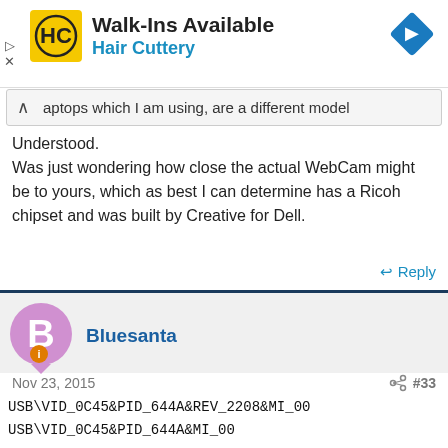[Figure (logo): Hair Cuttery advertisement banner with HC logo, Walk-Ins Available heading, Hair Cuttery subheading, and navigation diamond icon]
aptops which I am using, are a different model
Understood.
Was just wondering how close the actual WebCam might be to yours, which as best I can determine has a Ricoh chipset and was built by Creative for Dell.
Reply
Bluesanta
Nov 23, 2015  #33
USB\VID_0C45&PID_644A&REV_2208&MI_00
USB\VID_0C45&PID_644A&MI_00